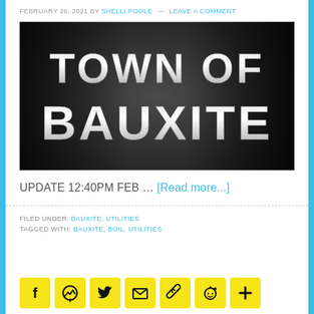FEBRUARY 26, 2021 BY SHELLI POOLE — LEAVE A COMMENT
[Figure (photo): Town of Bauxite sign — dark background with silver/white bold lettering reading TOWN OF BAUXITE]
UPDATE 12:40PM FEB … [Read more...]
FILED UNDER: BAUXITE, UTILITIES
TAGGED WITH: BAUXITE, BOIL, UTILITIES